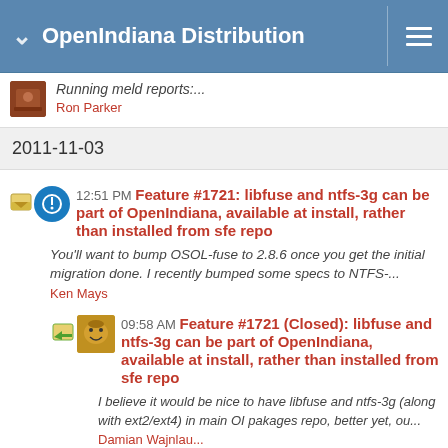OpenIndiana Distribution
Running meld reports:...
Ron Parker
2011-11-03
12:51 PM Feature #1721: libfuse and ntfs-3g can be part of OpenIndiana, available at install, rather than installed from sfe repo
You'll want to bump OSOL-fuse to 2.8.6 once you get the initial migration done. I recently bumped some specs to NTFS-...
Ken Mays
09:58 AM Feature #1721 (Closed): libfuse and ntfs-3g can be part of OpenIndiana, available at install, rather than installed from sfe repo
I believe it would be nice to have libfuse and ntfs-3g (along with ext2/ext4) in main OI pakages repo, better yet, ou...
Damian Wajnlau...